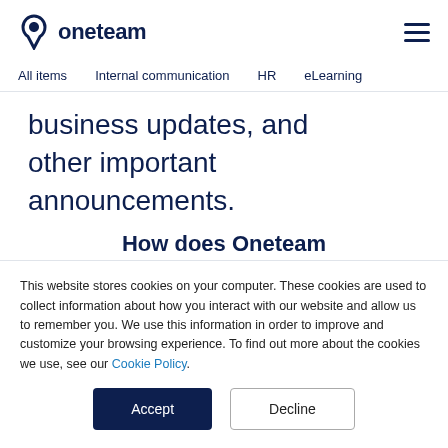oneteam
All items   Internal communication   HR   eLearning
business updates, and other important announcements.
How does Oneteam
This website stores cookies on your computer. These cookies are used to collect information about how you interact with our website and allow us to remember you. We use this information in order to improve and customize your browsing experience. To find out more about the cookies we use, see our Cookie Policy.
Accept   Decline